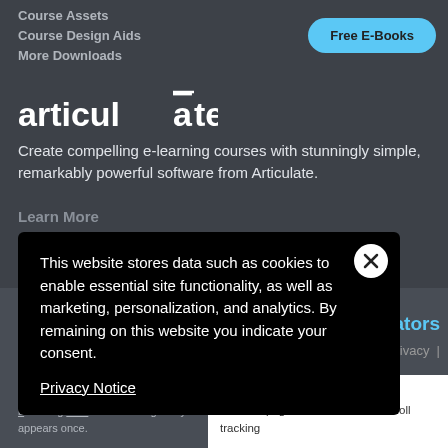Course Assets
Course Design Aids
More Downloads
Free E-Books
[Figure (logo): Articulate logo in white text with overline on the 'a']
Create compelling e-learning courses with stunningly simple, remarkably powerful software from Articulate.
Learn More
This website stores data such as cookies to enable essential site functionality, as well as marketing, personalization, and analytics. By remaining on this website you indicate your consent.
Privacy Notice
eators
Privacy  |
Accept and Close ✕
k on this page to allow t of this AdRoll tracking